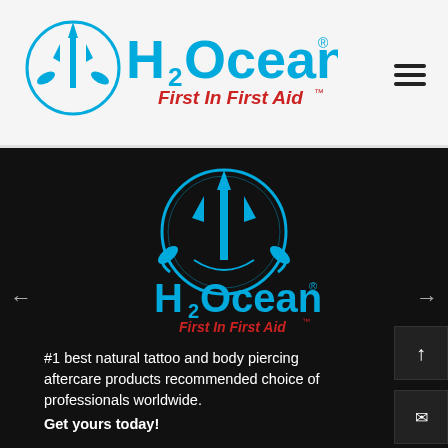[Figure (logo): H2Ocean logo with trident/ocean emblem and 'First In First Aid' tagline in blue and red, displayed in website header on light grey background]
[Figure (logo): H2Ocean logo centered on dark background with circular trident emblem and 'First In First Aid' tagline in blue and red]
#1 best natural tattoo and body piercing aftercare products recommended choice of professionals worldwide.
Get yours today!